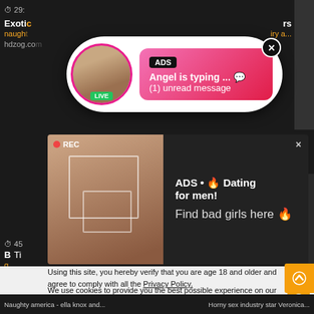[Figure (screenshot): Top dark strip showing video thumbnails with timer 29, 'Exotic' text, naughty/hdzog labels in orange/grey]
[Figure (infographic): White rounded popup notification: ADS badge, 'Angel is typing ... emoji', '(1) unread message' on pink gradient background, avatar with LIVE badge, X close button]
[Figure (screenshot): Dark popup ad with woman selfie photo with REC label, text: ADS • emoji Dating for men! Find bad girls here emoji]
Using this site, you hereby verify that you are age 18 and older and agree to comply with all the Privacy Policy.
We use cookies to provide you the best possible experience on our website and to monitor website traffic. Cookies Policy.
Naughty america - ella knox and...   Horny sex industry star Veronica...